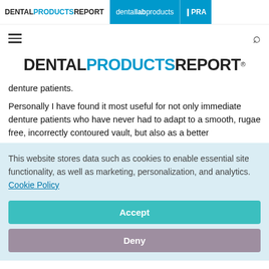DENTAL PRODUCTS REPORT | dental lab products | IPRA
[Figure (logo): DENTAL PRODUCTS REPORT logo, large centered masthead]
denture patients.
Personally I have found it most useful for not only immediate denture patients who have never had to adapt to a smooth, rugae free, incorrectly contoured vault, but also as a better
This website stores data such as cookies to enable essential site functionality, as well as marketing, personalization, and analytics. Cookie Policy
Accept
Deny